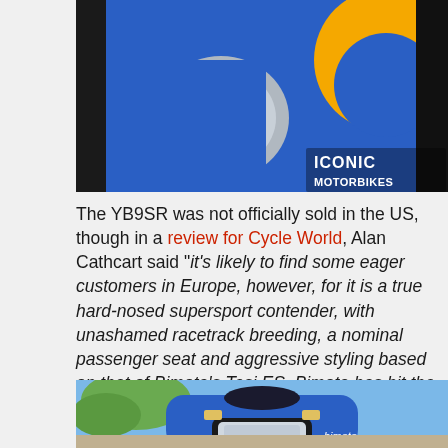[Figure (photo): Close-up of blue Bimota YB9SR fairing with orange circular logo and chrome fuel cap. Watermark reads 'ICONIC MOTORBIKES' in white text at bottom right.]
The YB9SR was not officially sold in the US, though in a review for Cycle World, Alan Cathcart said “it’s likely to find some eager customers in Europe, however, for it is a true hard-nosed supersport contender, with unashamed racetrack breeding, a nominal passenger seat and aggressive styling based on that of Bimota’s Tesi ES. Bimota has hit the supersport target spot-on, the second time around.”
[Figure (photo): Front view of Bimota motorcycle in bright blue, showing headlight, windscreen, and 'bimota' logo. Blue sky and trees in background.]